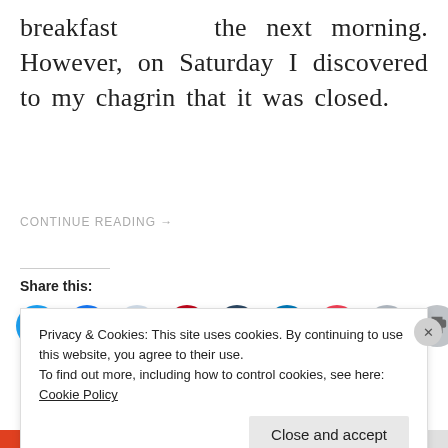breakfast  the next morning. However, on Saturday I discovered to my chagrin that it was closed.
CONTINUE READING →
Share this:
[Figure (other): Row of social share icon buttons: Twitter (blue), Facebook (blue), Reddit (light gray), Pinterest (red), Tumblr (dark navy), LinkedIn (blue), Pocket (red), Email (gray), Print (gray)]
Loading…
Privacy & Cookies: This site uses cookies. By continuing to use this website, you agree to their use.
To find out more, including how to control cookies, see here: Cookie Policy
Close and accept